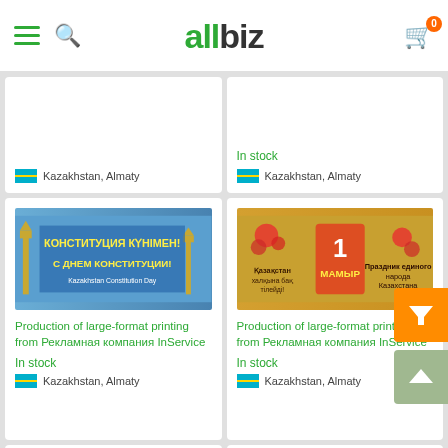allbiz
Kazakhstan, Almaty
In stock
Kazakhstan, Almaty
[Figure (illustration): Large-format print banner with Cyrillic text: КОНСТИТУЦИЯ КҮНІМЕН! С ДНЕМ КОНСТИТУЦИИ!]
Production of large-format printing from Рекламная компания InService
In stock
Kazakhstan, Almaty
[Figure (illustration): Large-format print banner with Cyrillic text and May Day imagery: 1 МАМЫР]
Production of large-format printing from Рекламная компания InService
In stock
Kazakhstan, Almaty
[Figure (illustration): Bottom left card partially visible, showing sailing ship image]
[Figure (illustration): Bottom right card partially visible, showing yellow banner]